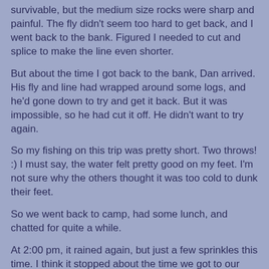survivable, but the medium size rocks were sharp and painful. The fly didn't seem too hard to get back, and I went back to the bank. Figured I needed to cut and splice to make the line even shorter.
But about the time I got back to the bank, Dan arrived. His fly and line had wrapped around some logs, and he'd gone down to try and get it back. But it was impossible, so he had cut it off. He didn't want to try again.
So my fishing on this trip was pretty short. Two throws! :) I must say, the water felt pretty good on my feet. I'm not sure why the others thought it was too cold to dunk their feet.
So we went back to camp, had some lunch, and chatted for quite a while.
At 2:00 pm, it rained again, but just a few sprinkles this time. I think it stopped about the time we got to our tents/tarp.
If I remember correctly, Ken came back from Eolus about 3:00 pm. He and Tom had done North Eolus, but had